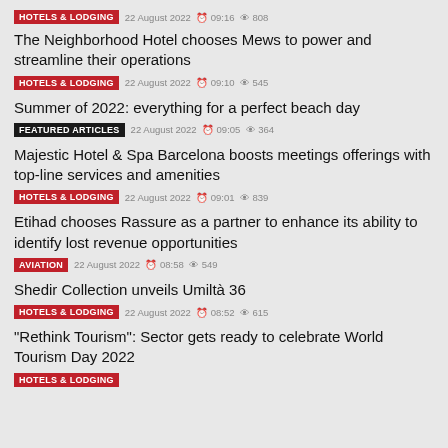HOTELS & LODGING  22 August 2022  09:16  808
The Neighborhood Hotel chooses Mews to power and streamline their operations
HOTELS & LODGING  22 August 2022  09:10  545
Summer of 2022: everything for a perfect beach day
FEATURED ARTICLES  22 August 2022  09:05  364
Majestic Hotel & Spa Barcelona boosts meetings offerings with top-line services and amenities
HOTELS & LODGING  22 August 2022  09:01  839
Etihad chooses Rassure as a partner to enhance its ability to identify lost revenue opportunities
AVIATION  22 August 2022  08:58  549
Shedir Collection unveils Umiltà 36
HOTELS & LODGING  22 August 2022  08:52  615
"Rethink Tourism": Sector gets ready to celebrate World Tourism Day 2022
HOTELS & LODGING